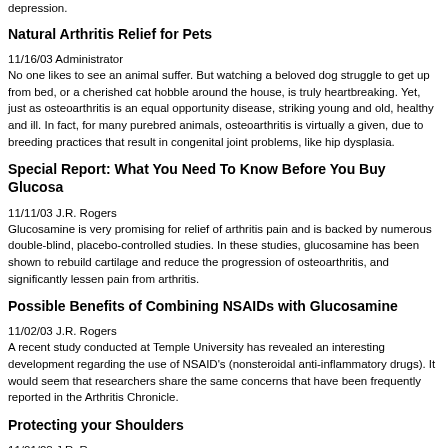depression.
Natural Arthritis Relief for Pets
11/16/03  Administrator
No one likes to see an animal suffer. But watching a beloved dog struggle to get up from bed, or a cherished cat hobble around the house, is truly heartbreaking. Yet, just as osteoarthritis is an equal opportunity disease, striking young and old, healthy and ill. In fact, for many purebred animals, osteoarthritis is virtually a given, due to breeding practices that result in congenital joint problems, like hip dysplasia.
Special Report: What You Need To Know Before You Buy Glucosa...
11/11/03  J.R. Rogers
Glucosamine is very promising for relief of arthritis pain and is backed by numerous double-blind, placebo-controlled studies. In these studies, glucosamine has been shown to rebuild cartilage and reduce the progression of osteoarthritis, and significantly lessen pain from arthritis.
Possible Benefits of Combining NSAIDs with Glucosamine
11/02/03  J.R. Rogers
A recent study conducted at Temple University has revealed an interesting development regarding the use of NSAID's (nonsteroidal anti-inflammatory drugs). It would seem that researchers share the same concerns that have been frequently reported in the Arthritis Chronicle.
Protecting your Shoulders
11/01/03  J.R. Rogers
For those who are regular readers of this chronicle know that I am a strong advocate of exercise for those who suffer from arthritis. The benefits are powerful and at the same time have to use a little caution. This is one instance when I say do not tackle the problem with exercise; at least, not right away.
Sports Injuries & Secondary Arthritis